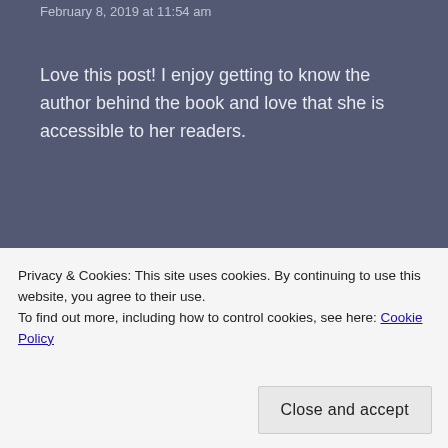February 8, 2019 at 11:54 am
Love this post! I enjoy getting to know the author behind the book and love that she is accessible to her readers.
★ Like
Reply
Nash series on your site. I really appreciate it!
Privacy & Cookies: This site uses cookies. By continuing to use this website, you agree to their use.
To find out more, including how to control cookies, see here: Cookie Policy
Close and accept